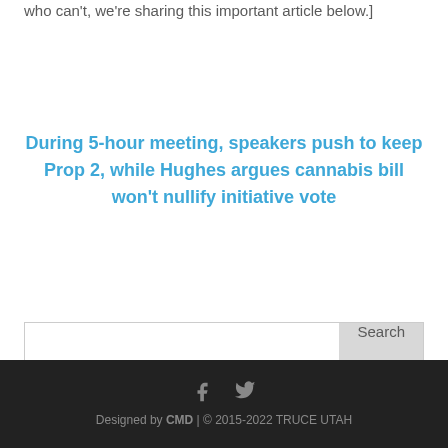who can't, we're sharing this important article below.]
During 5-hour meeting, speakers push to keep Prop 2, while Hughes argues cannabis bill won't nullify initiative vote
[Figure (other): Search bar widget with text input and Search button]
Designed by CMD | © 2015-2022 TRUCE UTAH